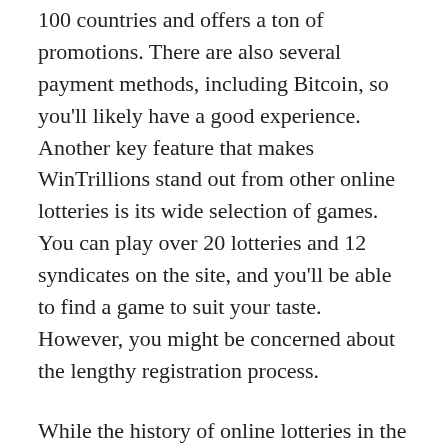100 countries and offers a ton of promotions. There are also several payment methods, including Bitcoin, so you'll likely have a good experience. Another key feature that makes WinTrillions stand out from other online lotteries is its wide selection of games. You can play over 20 lotteries and 12 syndicates on the site, and you'll be able to find a game to suit your taste. However, you might be concerned about the lengthy registration process.
While the history of online lotteries in the United States is relatively new, a few states have already made the move. Today, only seven states have authorized online lottery sales. Some offshore lottery providers also claim to sell lottery tickets, but they are not regulated by any state in the United States. This means that if you're looking to buy a lottery ticket online, you should choose an official lottery provider. A reputable lottery site will be able to pay you when